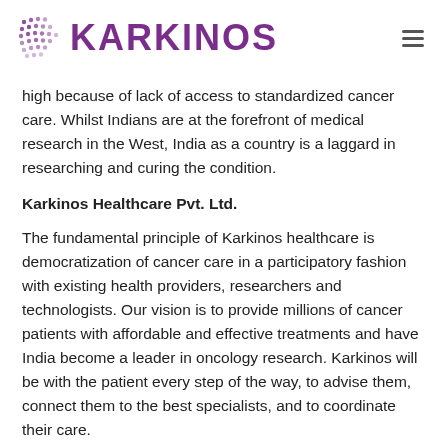KARKINOS
high because of lack of access to standardized cancer care. Whilst Indians are at the forefront of medical research in the West, India as a country is a laggard in researching and curing the condition.
Karkinos Healthcare Pvt. Ltd.
The fundamental principle of Karkinos healthcare is democratization of cancer care in a participatory fashion with existing health providers, researchers and technologists. Our vision is to provide millions of cancer patients with affordable and effective treatments and have India become a leader in oncology research. Karkinos will be with the patient every step of the way, to advise them, connect them to the best specialists, and to coordinate their care.
Karkinos has an eclectic founding team with strong